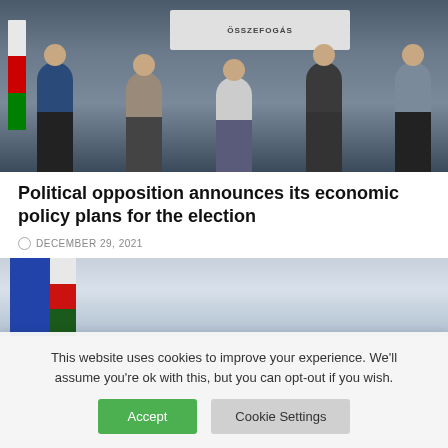[Figure (photo): Group of men standing in front of a banner, some wearing face masks, at what appears to be a press conference or political event. A flag is visible on the left.]
Political opposition announces its economic policy plans for the election
DECEMBER 29, 2021
[Figure (photo): Partial photo showing flags including blue and red-white-green tricolor flag, in what appears to be an indoor setting.]
This website uses cookies to improve your experience. We'll assume you're ok with this, but you can opt-out if you wish.